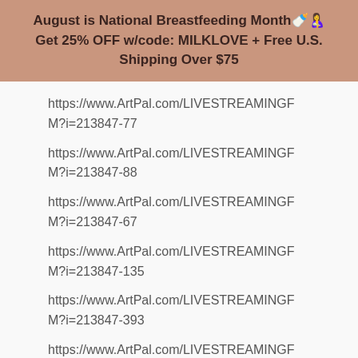August is National Breastfeeding Month🍼🤱 Get 25% OFF w/code: MILKLOVE + Free U.S. Shipping Over $75
https://www.ArtPal.com/LIVESTREAMINGFM?i=213847-77
https://www.ArtPal.com/LIVESTREAMINGFM?i=213847-88
https://www.ArtPal.com/LIVESTREAMINGFM?i=213847-67
https://www.ArtPal.com/LIVESTREAMINGFM?i=213847-135
https://www.ArtPal.com/LIVESTREAMINGFM?i=213847-393
https://www.ArtPal.com/LIVESTREAMINGFM?i=213847-124
https://www.ArtPal.com/LIVESTREAMINGFM?i=213847-313
https://www.ArtPal.com/LIVESTREAMINGFM?i=213847-